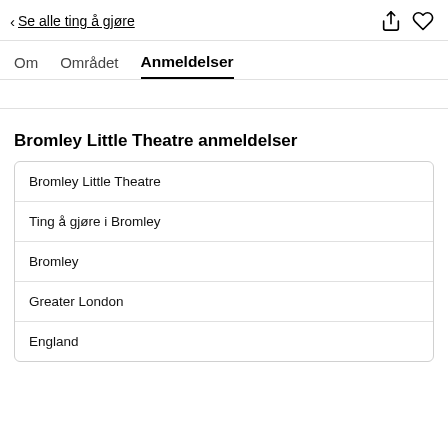< Se alle ting å gjøre
Om   Området   Anmeldelser
Bromley Little Theatre anmeldelser
Bromley Little Theatre
Ting å gjøre i Bromley
Bromley
Greater London
England